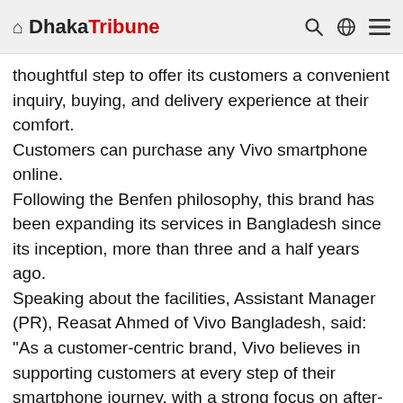Dhaka Tribune
thoughtful step to offer its customers a convenient inquiry, buying, and delivery experience at their comfort.
Customers can purchase any Vivo smartphone online.
Following the Benfen philosophy, this brand has been expanding its services in Bangladesh since its inception, more than three and a half years ago.
Speaking about the facilities, Assistant Manager (PR), Reasat Ahmed of Vivo Bangladesh, said: "As a customer-centric brand, Vivo believes in supporting customers at every step of their smartphone journey, with a strong focus on after-sales service. Our initiatives have received an overwhelmingly positive response so far, and we are thrilled to have been able to provide a smooth experience for Vivo smartphone buyers in Bangladesh. We strive to deliver our products and services to customers in the quickest time possible so that each individual can experience our meaningful.